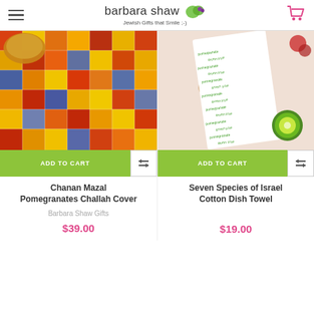barbara shaw — Jewish Gifts that Smile ;-)
[Figure (photo): Colorful patchwork Challah cover with pomegranate motifs in reds, yellows, oranges]
[Figure (photo): White cotton dish towel with green Seven Species of Israel text and icon pattern, displayed on pink background with wooden heart and kiwi]
ADD TO CART
ADD TO CART
Chanan Mazal Pomegranates Challah Cover
Seven Species of Israel Cotton Dish Towel
Barbara Shaw Gifts
$39.00
$19.00